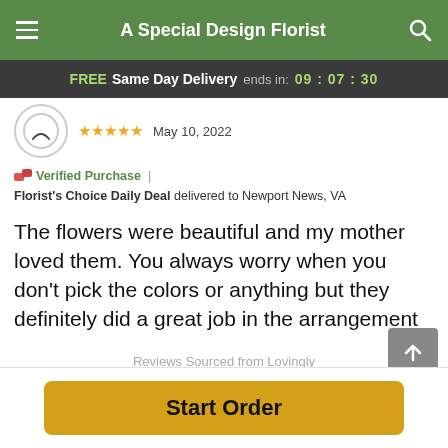A Special Design Florist
FREE Same Day Delivery ends in: 09:07:30
★★★★★  May 10, 2022
Verified Purchase | Florist's Choice Daily Deal delivered to Newport News, VA
The flowers were beautiful and my mother loved them. You always worry when you don't pick the colors or anything but they definitely did a great job in the arrangement
Reviews Sourced from Lovingly
You May Also Like
Start Order